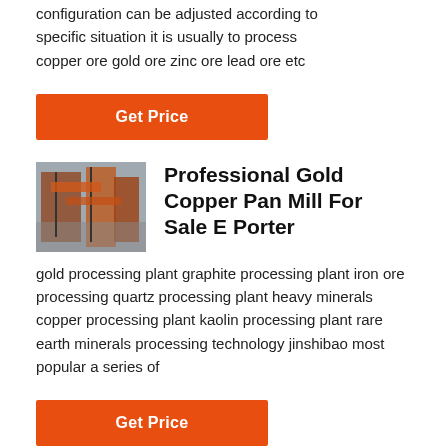configuration can be adjusted according to specific situation it is usually to process copper ore gold ore zinc ore lead ore etc
Get Price
[Figure (photo): Industrial mining processing plant with orange/red machinery structures]
Professional Gold Copper Pan Mill For Sale E Porter
gold processing plant graphite processing plant iron ore processing quartz processing plant heavy minerals copper processing plant kaolin processing plant rare earth minerals processing technology jinshibao most popular a series of
Get Price
[Figure (photo): Factory mining equipment - partial image at bottom]
Factory Mining